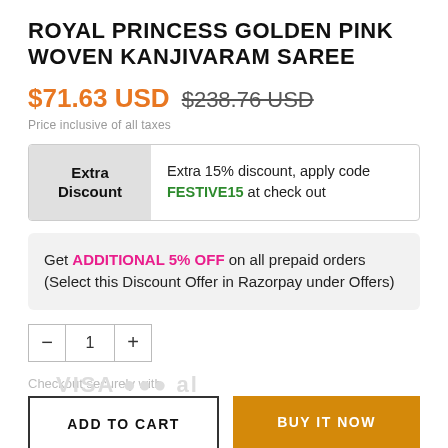ROYAL PRINCESS GOLDEN PINK WOVEN KANJIVARAM SAREE
$71.63 USD  $238.76 USD
Price inclusive of all taxes
Extra Discount — Extra 15% discount, apply code FESTIVE15 at check out
Get ADDITIONAL 5% OFF on all prepaid orders (Select this Discount Offer in Razorpay under Offers)
- 1 +
Checkout securely with
ADD TO CART
BUY IT NOW